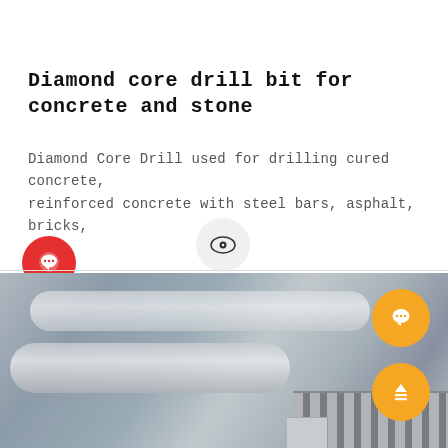[Figure (photo): Two pink/red diamond core drill bits shown from above, cropped at top of page]
Diamond core drill bit for concrete and stone
Diamond Core Drill used for drilling cured concrete, reinforced concrete with steel bars, asphalt, bricks,
[Figure (photo): Close-up photograph of a diamond core drill bit shaft made of brushed steel/aluminum, showing the segmented cutting tip at bottom right. Overlaid with two orange circular UI buttons (chat and menu) and position on page.]